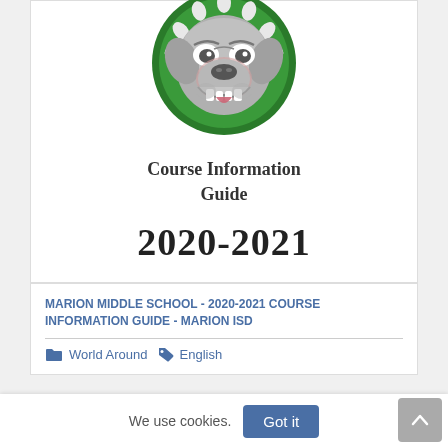[Figure (illustration): Marion Middle School bulldog mascot logo: a grey bulldog face with spiked collar on a green circular background]
Course Information Guide
2020-2021
MARION MIDDLE SCHOOL - 2020-2021 COURSE INFORMATION GUIDE - MARION ISD
World Around  English
We use cookies.